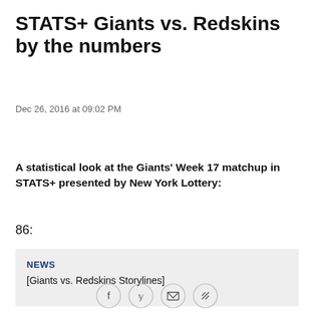STATS+ Giants vs. Redskins by the numbers
Dec 26, 2016 at 09:02 PM
A statistical look at the Giants' Week 17 matchup in STATS+ presented by New York Lottery:
86:
NEWS
[Giants vs. Redskins Storylines]
[Figure (other): Social sharing icons: Facebook, Twitter, Email, Link]